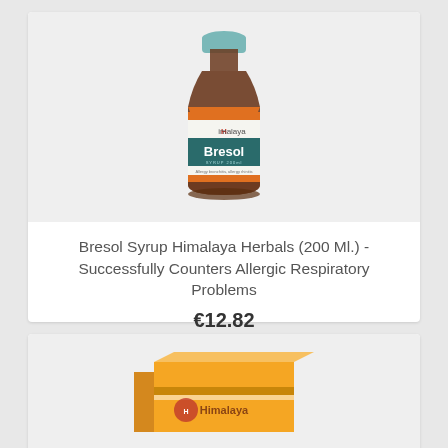[Figure (photo): Bresol Syrup bottle by Himalaya Herbals, 200ml, brown glass bottle with teal label showing brand name Bresol]
Bresol Syrup Himalaya Herbals (200 Ml.) - Successfully Counters Allergic Respiratory Problems
€12.82
[Figure (photo): Partial view of a second product in an orange/yellow box, partially visible at bottom of page]